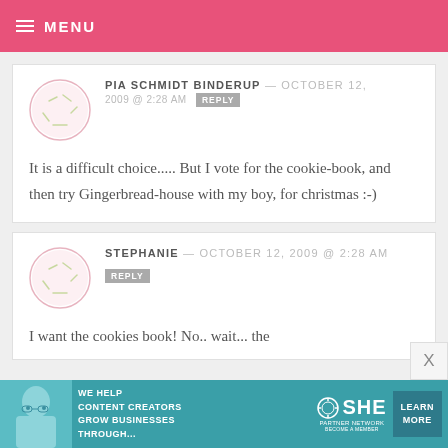MENU
PIA SCHMIDT BINDERUP — OCTOBER 12, 2009 @ 2:28 AM  REPLY
It is a difficult choice..... But I vote for the cookie-book, and then try Gingerbread-house with my boy, for christmas :-)
STEPHANIE — OCTOBER 12, 2009 @ 2:28 AM  REPLY
I want the cookies book! No.. wait... the
[Figure (infographic): Advertisement banner for SHE Partner Network: We help content creators grow businesses through... Learn More button]